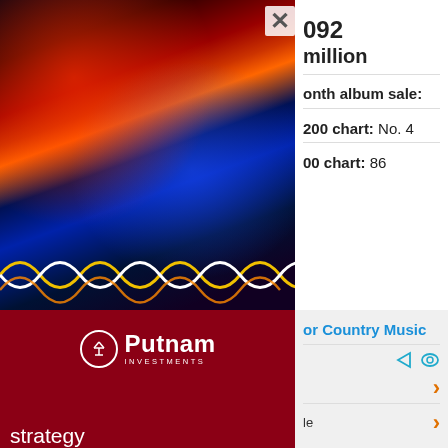[Figure (photo): Colorful light streak photography with DNA double helix at the bottom, vivid reds, blues, and yellows against a dark background]
092
million
onth album sale:
200 chart: No. 4
00 chart: 86
[Figure (logo): Putnam Investments logo — scales icon in circle with Putnam Investments text in white on dark red background]
strategy
or Country Music
le